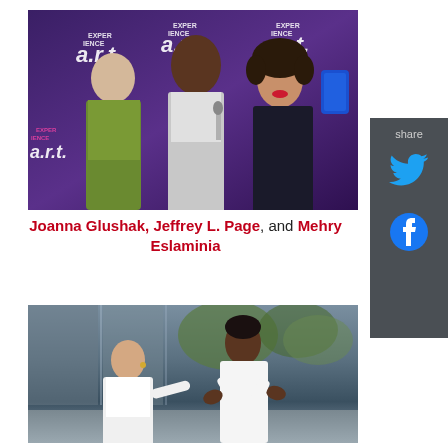[Figure (photo): Three people posing for a selfie in front of an 'Experience Art' step-and-repeat backdrop. A woman in a green jacket makes a kissing face on the left, a tall man in the center laughs, and a woman with curly hair takes the selfie on the right.]
Joanna Glushak, Jeffrey L. Page, and Mehry Eslaminia
[Figure (photo): Two people interacting outdoors. A woman in a white blazer on the left reaches toward a man in a white shirt on the right who has his hands raised.]